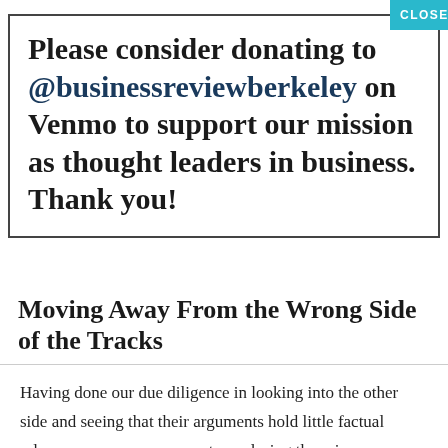Please consider donating to @businessreviewberkeley on Venmo to support our mission as thought leaders in business. Thank you!
Moving Away From the Wrong Side of the Tracks
Having done our due diligence in looking into the other side and seeing that their arguments hold little factual relevance, we can move on to exploring the primary reasons why funding public transportation benefits society.